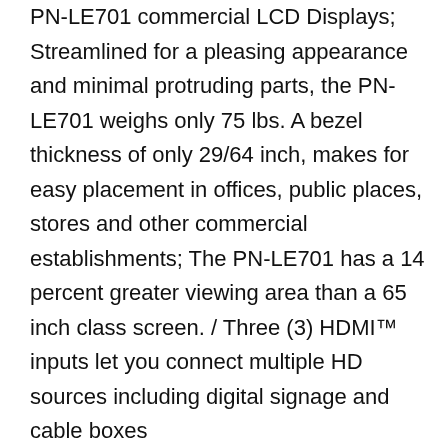PN-LE701 commercial LCD Displays; Streamlined for a pleasing appearance and minimal protruding parts, the PN-LE701 weighs only 75 lbs. A bezel thickness of only 29/64 inch, makes for easy placement in offices, public places, stores and other commercial establishments; The PN-LE701 has a 14 percent greater viewing area than a 65 inch class screen. / Three (3) HDMI™ inputs let you connect multiple HD sources including digital signage and cable boxes
Backlight Technology:Edge LED / Horizontal Viewing Angle:176Deg /